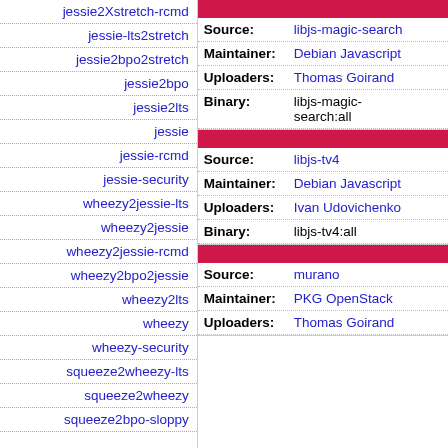jessie2Xstretch-rcmd
jessie-lts2stretch
jessie2bpo2stretch
jessie2bpo
jessie2lts
jessie
jessie-rcmd
jessie-security
wheezy2jessie-lts
wheezy2jessie
wheezy2jessie-rcmd
wheezy2bpo2jessie
wheezy2lts
wheezy
wheezy-security
squeeze2wheezy-lts
squeeze2wheezy
squeeze2bpo-sloppy
| Field | Value |
| --- | --- |
| Source: | libjs-magic-search |
| Maintainer: | Debian Javascript |
| Uploaders: | Thomas Goirand |
| Binary: | libjs-magic-search:all |
| Field | Value |
| --- | --- |
| Source: | libjs-tv4 |
| Maintainer: | Debian Javascript |
| Uploaders: | Ivan Udovichenko |
| Binary: | libjs-tv4:all |
| Field | Value |
| --- | --- |
| Source: | murano |
| Maintainer: | PKG OpenStack |
| Uploaders: | Thomas Goirand |